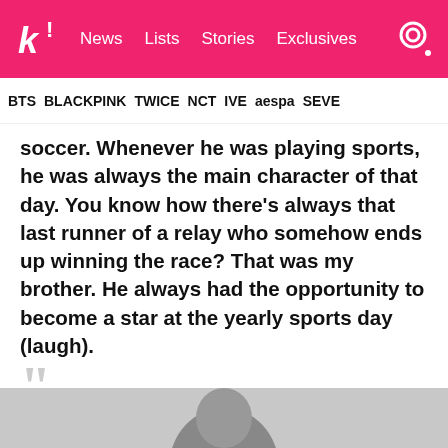k! News  Lists  Stories  Exclusives
BTS  BLACKPINK  TWICE  NCT  IVE  aespa  SEVE
soccer. Whenever he was playing sports, he was always the main character of that day. You know how there's always that last runner of a relay who somehow ends up winning the race? That was my brother. He always had the opportunity to become a star at the yearly sports day (laugh).
””
— Doyoung
[Figure (photo): Black and white photo of a person, partially visible at the bottom of the page]